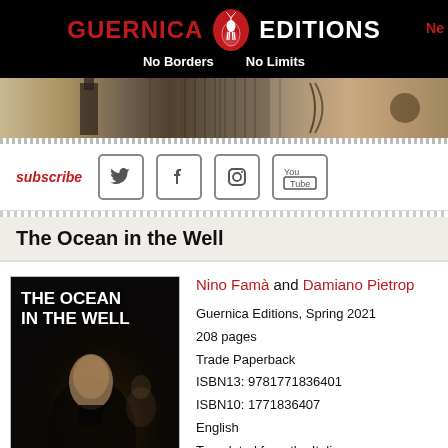[Figure (logo): Guernica Editions header logo with black background, red deer logo in circle, white text reading GUERNICA EDITIONS, No Borders No Limits]
[Figure (photo): Banner image showing abstract/collage artwork across the top of the page]
subscribe
[Figure (screenshot): Social media icons: Twitter, Facebook, Instagram, YouTube]
The Ocean in the Well
[Figure (photo): Book cover of The Ocean in the Well by Nino Famà, translated from the Italian by Damiano Pietropaolo. Dark cover with painted figure and white title text.]
Nino Famà and Damiano Pietrop
Guernica Editions, Spring 2021
208 pages
Trade Paperback
ISBN13: 9781771836401
ISBN10: 1771836407
English
Translated from the Italian
$20.00 Canada, $17.95 US, £9.95 UK